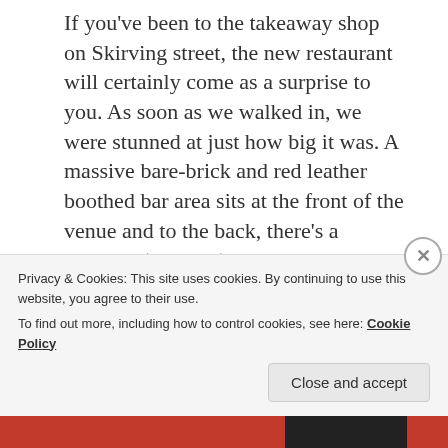If you've been to the takeaway shop on Skirving street, the new restaurant will certainly come as a surprise to you. As soon as we walked in, we were stunned at just how big it was. A massive bare-brick and red leather boothed bar area sits at the front of the venue and to the back, there's a separate (massive) dining area which is set out over two levels. The photos here certainly don't do the size of the place justice. It's the biggest possible upgrade from the takeaway shop that you could imagine. The diner simply exudes cool, from the comfy leather booths, the bare-brick bar and the awesome jukebox
Privacy & Cookies: This site uses cookies. By continuing to use this website, you agree to their use. To find out more, including how to control cookies, see here: Cookie Policy
Close and accept